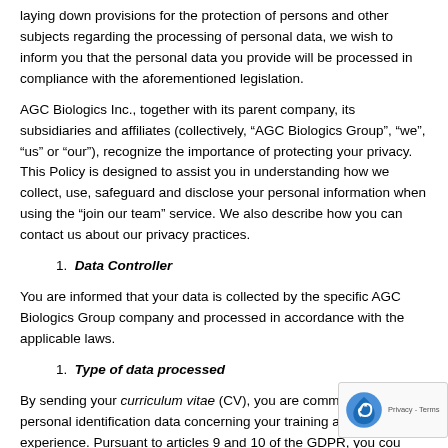laying down provisions for the protection of persons and other subjects regarding the processing of personal data, we wish to inform you that the personal data you provide will be processed in compliance with the aforementioned legislation.
AGC Biologics Inc., together with its parent company, its subsidiaries and affiliates (collectively, “AGC Biologics Group”, “we”, “us” or “our”), recognize the importance of protecting your privacy. This Policy is designed to assist you in understanding how we collect, use, safeguard and disclose your personal information when using the “join our team” service. We also describe how you can contact us about our privacy practices.
1. Data Controller
You are informed that your data is collected by the specific AGC Biologics Group company and processed in accordance with the applicable laws.
1. Type of data processed
By sending your curriculum vitae (CV), you are communicating your personal identification data concerning your training and work experience. Pursuant to articles 9 and 10 of the GDPR, you could give us data qualifying as "particular categories of personal data", those data revealing "racial or ethnic origin, political opinions, religious or philosophical convictions, or union membership, data